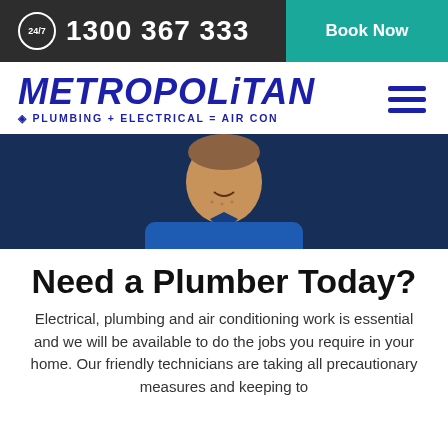24/7  1300 367 333  |  Book Now
[Figure (logo): Metropolitan Plumbing + Electrical = Air Con logo in dark blue italic text with hamburger menu icon]
[Figure (photo): Smiling male technician wearing Metropolitan blue polo shirt, on dark navy blue background]
Need a Plumber Today?
Electrical, plumbing and air conditioning work is essential and we will be available to do the jobs you require in your home. Our friendly technicians are taking all precautionary measures and keeping to